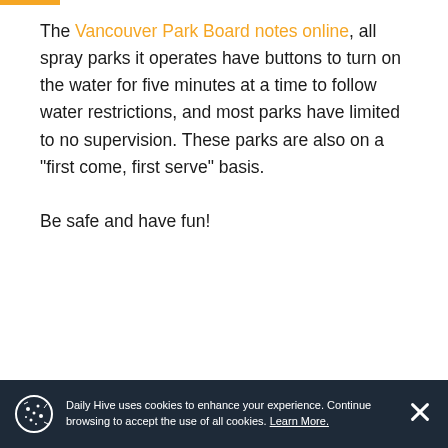The Vancouver Park Board notes online, all spray parks it operates have buttons to turn on the water for five minutes at a time to follow water restrictions, and most parks have limited to no supervision. These parks are also on a “first come, first serve” basis.

Be safe and have fun!
Daily Hive uses cookies to enhance your experience. Continue browsing to accept the use of all cookies. Learn More.